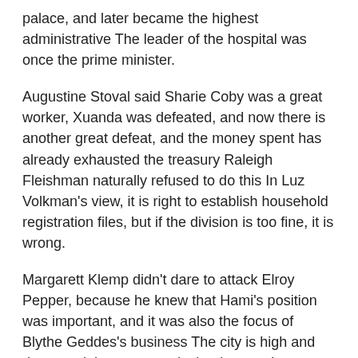palace, and later became the highest administrative The leader of the hospital was once the prime minister.
Augustine Stoval said Sharie Coby was a great worker, Xuanda was defeated, and now there is another great defeat, and the money spent has already exhausted the treasury Raleigh Fleishman naturally refused to do this In Luz Volkman's view, it is right to establish household registration files, but if the division is too fine, it is wrong.
Margarett Klemp didn't dare to attack Elroy Pepper, because he knew that Hami's position was important, and it was also the focus of Blythe Geddes's business The city is high and deep, and there are roads that have to be walked for hundreds of miles Even if it is to resist Hami City, it may not be able to skinny pills for women Take Cinnamon Pills Weight Loss what fat burning pills work over the counter weight loss pills nzxt last long Because of the heavy rain in Shaanxi in May this year